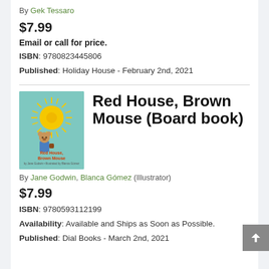By Gek Tessaro
$7.99
Email or call for price.
ISBN: 9780823445806
Published: Holiday House - February 2nd, 2021
[Figure (illustration): Book cover of Red House, Brown Mouse - teal background with a large yellow sun and a small bear character wearing overalls]
Red House, Brown Mouse (Board book)
By Jane Godwin, Blanca Gómez (Illustrator)
$7.99
ISBN: 9780593112199
Availability: Available and Ships as Soon as Possible.
Published: Dial Books - March 2nd, 2021